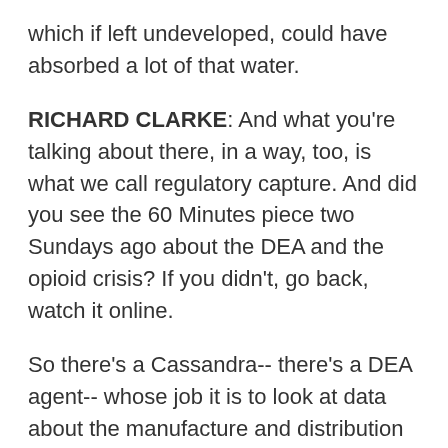which if left undeveloped, could have absorbed a lot of that water.
RICHARD CLARKE: And what you're talking about there, in a way, too, is what we call regulatory capture. And did you see the 60 Minutes piece two Sundays ago about the DEA and the opioid crisis? If you didn't, go back, watch it online.
So there's a Cassandra-- there's a DEA agent-- whose job it is to look at data about the manufacture and distribution of controlled substances, of narcotics. And he sees these incredibly odd spikes in production of opioids and distribution of opioids, and he sees more opioids going to small towns in West Virginia